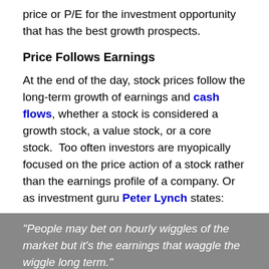price or P/E for the investment opportunity that has the best growth prospects.
Price Follows Earnings
At the end of the day, stock prices follow the long-term growth of earnings and cash flows, whether a stock is considered a growth stock, a value stock, or a core stock.  Too often investors are myopically focused on the price action of a stock rather than the earnings profile of a company. Or as investment guru Peter Lynch states:
"People may bet on hourly wiggles of the market but it's the earnings that waggle the wiggle long term." "People Concentrate too much on the P (Price), but the E (Earnings) really makes the difference."
Correctly determining how a company can grow earnings